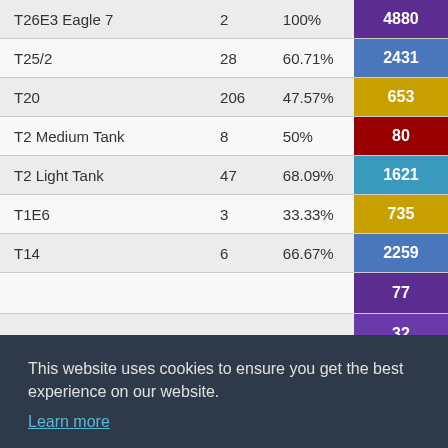| Vehicle | Battles | Win Rate | Score |
| --- | --- | --- | --- |
| T26E3 Eagle 7 | 2 | 100% | 4880 |
| T25/2 | 28 | 60.71% | 2431 |
| T20 | 206 | 47.57% | 653 |
| T2 Medium Tank | 8 | 50% | 80 |
| T2 Light Tank | 47 | 68.09% | 1621 |
| T1E6 | 3 | 33.33% | 735 |
| T14 | 6 | 66.67% | 2259 |
| ... | ... | ... | 77 |
| ... | ... | ... | 32 |
| ... | ... | ... | 18 |
| ... | ... | ... | 7 |
| ... | ... | ... | 7 |
| T1 Cunningham | 75 | 57.33% | 141 |
This website uses cookies to ensure you get the best experience on our website. Learn more
Got it!